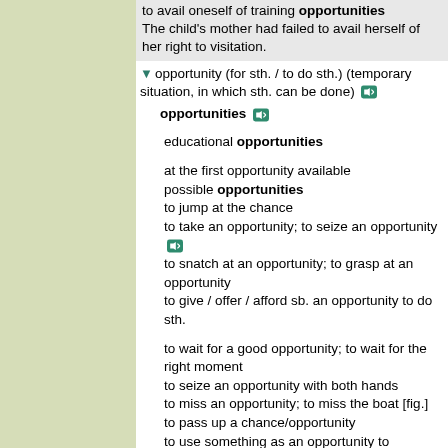to avail oneself of training opportunities
The child's mother had failed to avail herself of her right to visitation.
opportunity (for sth. / to do sth.) (temporary situation, in which sth. can be done)
opportunities
educational opportunities
at the first opportunity available
possible opportunities
to jump at the chance
to take an opportunity; to seize an opportunity
to snatch at an opportunity; to grasp at an opportunity
to give / offer / afford sb. an opportunity to do sth.
to wait for a good opportunity; to wait for the right moment
to seize an opportunity with both hands
to miss an opportunity; to miss the boat [fig.]
to pass up a chance/opportunity
to use something as an opportunity to